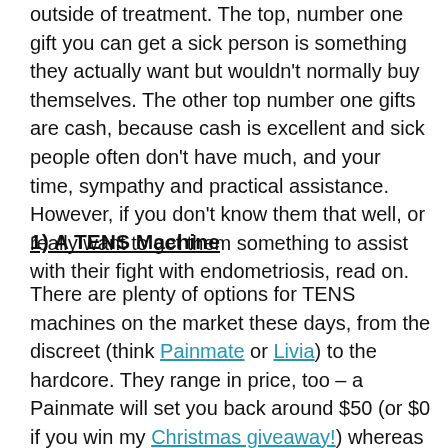outside of treatment.  The top, number one gift you can get a sick person is something they actually want but wouldn't normally buy themselves.  The other top number one gifts are cash, because cash is excellent and sick people often don't have much, and your time, sympathy and practical assistance.  However, if you don't know them that well, or really want to get them something to assist with their fight with endometriosis, read on.
1)  A TENS Machine
There are plenty of options for TENS machines on the market these days, from the discreet (think Painmate or Livia) to the hardcore.  They range in price, too – a Painmate will set you back around $50 (or $0 if you win my Christmas giveaway!) whereas a Livia kit is on sale at $198 right now.  TENSMachinesAustralia sells a variety ranging from $100 to $300+